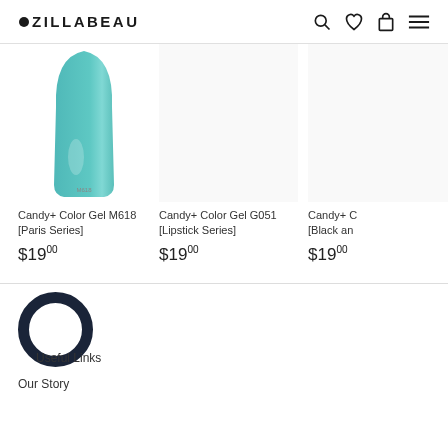ZILLABEAU
[Figure (photo): Teal nail polish swatch shaped like a fingernail, labeled M618, for Candy+ Color Gel M618 [Paris Series]]
Candy+ Color Gel M618 [Paris Series]
$19.00
Candy+ Color Gel G051 [Lipstick Series]
$19.00
Candy+ C [Black an
$19.00
[Figure (logo): Large circular ring logo (dark navy/black) partially overlapping with 'Useful Links' text]
Useful Links
Our Story